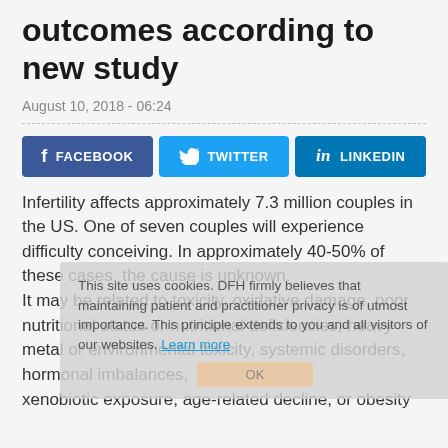outcomes according to new study
August 10, 2018 - 06:24
[Figure (other): Social sharing buttons: Facebook, Twitter, LinkedIn]
This site uses cookies. DFH firmly believes that maintaining patient and practitioner privacy is of utmost importance. This principle extends to you and all visitors of our websites. Learn more
Infertility affects approximately 7.3 million couples in the US. One of seven couples will experience difficulty conceiving. In approximately 40-50% of these cases, the cause is unknown.
It may be related to toxicity, oxidative damage, poor nutritional status or nutritional deficiencies, heavy metal or environmental toxicity, systemic disorders, hormonal imbalances, xenobiotic exposure, age-related decline, or obesity